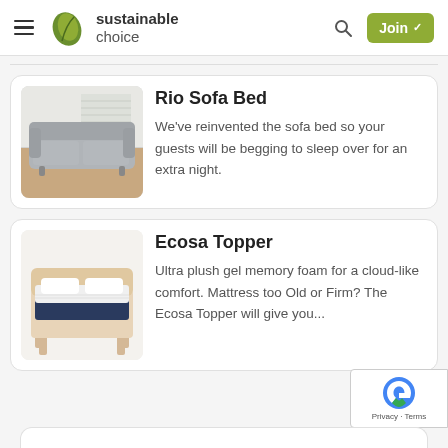sustainable choice — navigation header with hamburger menu, logo, search icon, and Join button
Rio Sofa Bed
We've reinvented the sofa bed so your guests will be begging to sleep over for an extra night.
Ecosa Topper
Ultra plush gel memory foam for a cloud-like comfort. Mattress too Old or Firm? The Ecosa Topper will give you...